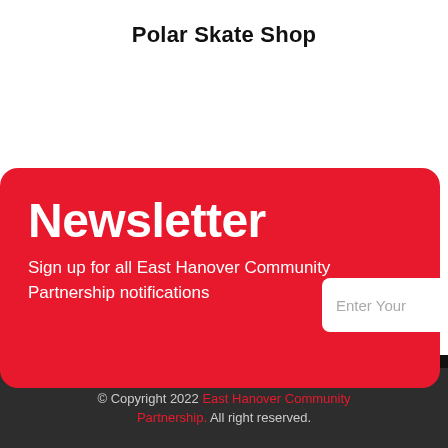Polar Skate Shop
Newsletter
Sign up for all East Hanover Community Partnership notifications
Enter Your
Subsc
© Copyright 2022 East Hanover Community Partnership. All right reserved.